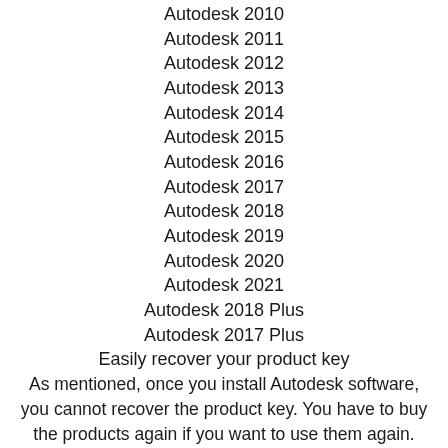Autodesk 2010
Autodesk 2011
Autodesk 2012
Autodesk 2013
Autodesk 2014
Autodesk 2015
Autodesk 2016
Autodesk 2017
Autodesk 2018
Autodesk 2019
Autodesk 2020
Autodesk 2021
Autodesk 2018 Plus
Autodesk 2017 Plus
Easily recover your product key
As mentioned, once you install Autodesk software, you cannot recover the product key. You have to buy the products again if you want to use them again. You might think that you will never need to get a new product but the truth is that you might need a new